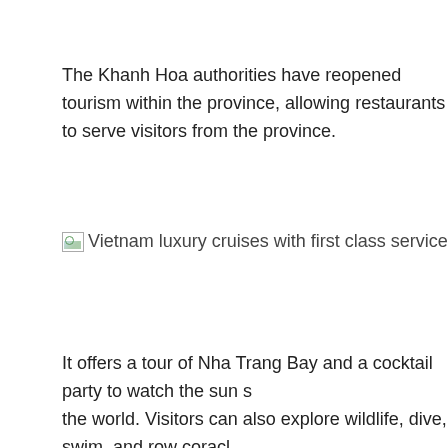The Khanh Hoa authorities have reopened tourism within the province, allowing restaurants to serve visitors from the province.
[Figure (photo): Vietnam luxury cruises with first class service - image placeholder]
It offers a tour of Nha Trang Bay and a cocktail party to watch the sun set over the world. Visitors can also explore wildlife, dive, swim, and row coracles.
A tour costs around VND 1.2 million.
[Figure (photo): Vietnam luxury cruises with first class service - image placeholder]
Catamaran Sarita Phu Quoc is the first sailing catamaran on Phu Quoc with a unique design.
It has four cabins, a lounge area and a galley and is ideal for a getaway.
Phu Quoc resumed tourism activities in early October and plans to welcome more visitors.